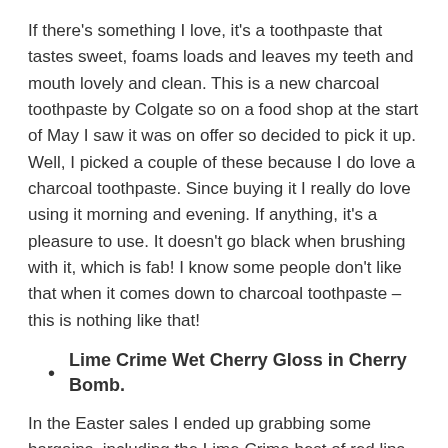If there's something I love, it's a toothpaste that tastes sweet, foams loads and leaves my teeth and mouth lovely and clean. This is a new charcoal toothpaste by Colgate so on a food shop at the start of May I saw it was on offer so decided to pick it up. Well, I picked a couple of these because I do love a charcoal toothpaste. Since buying it I really do love using it morning and evening. If anything, it's a pleasure to use. It doesn't go black when brushing with it, which is fab! I know some people don't like that when it comes down to charcoal toothpaste – this is nothing like that!
Lime Crime Wet Cherry Gloss in Cherry Bomb.
In the Easter sales I ended up grabbing some bargains, including the Lime Crime best of red lips and this was one of the four products inside of the set. Out of the four this is definitely my favourite to be honest, which took me by surprise! I'm not going to lie – whilst I thought the wet cherry glosses looked amazing, for £16.00 I thought they were a rip off for something you could pick up on the high street for half of the price and I still do hit it. It...